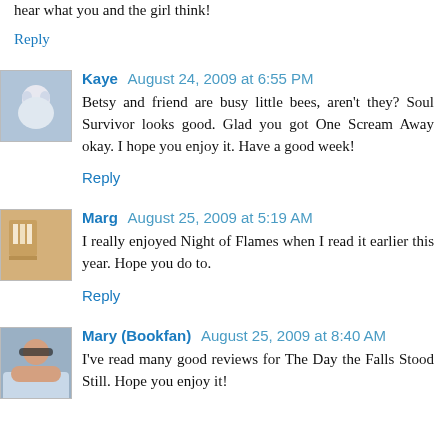hear what you and the girl think!
Reply
Kaye  August 24, 2009 at 6:55 PM
Betsy and friend are busy little bees, aren't they? Soul Survivor looks good. Glad you got One Scream Away okay. I hope you enjoy it. Have a good week!
Reply
Marg  August 25, 2009 at 5:19 AM
I really enjoyed Night of Flames when I read it earlier this year. Hope you do to.
Reply
Mary (Bookfan)  August 25, 2009 at 8:40 AM
I've read many good reviews for The Day the Falls Stood Still. Hope you enjoy it!